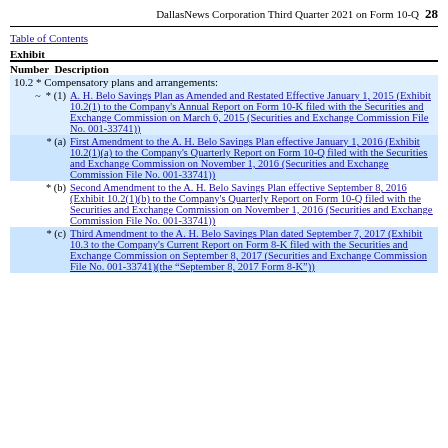DallasNews Corporation Third Quarter 2021 on Form 10-Q   28
Table of Contents
| Exhibit Number | Description |
| --- | --- |
| 10.2 * | Compensatory plans and arrangements: |
| ~ * (1) | A. H. Belo Savings Plan as Amended and Restated Effective January 1, 2015 (Exhibit 10.2(1) to the Company's Annual Report on Form 10-K filed with the Securities and Exchange Commission on March 6, 2015 (Securities and Exchange Commission File No. 001-33741)) |
| * (a) | First Amendment to the A. H. Belo Savings Plan effective January 1, 2016 (Exhibit 10.2(1)(a) to the Company's Quarterly Report on Form 10-Q filed with the Securities and Exchange Commission on November 1, 2016 (Securities and Exchange Commission File No. 001-33741)) |
| * (b) | Second Amendment to the A. H. Belo Savings Plan effective September 8, 2016 (Exhibit 10.2(1)(b) to the Company's Quarterly Report on Form 10-Q filed with the Securities and Exchange Commission on November 1, 2016 (Securities and Exchange Commission File No. 001-33741)) |
| * (c) | Third Amendment to the A. H. Belo Savings Plan dated September 7, 2017 (Exhibit 10.3 to the Company's Current Report on Form 8-K filed with the Securities and Exchange Commission on September 8, 2017 (Securities and Exchange Commission File No. 001-33741)(the “September 8, 2017 Form 8-K”)) |